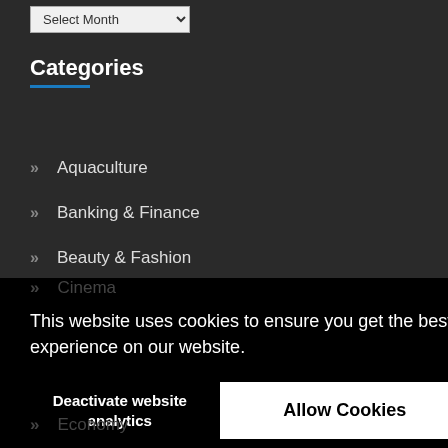Select Month
Categories
» Aquaculture
» Banking & Finance
» Beauty & Fashion
» Business
This website uses cookies to ensure you get the best experience on our website.
Deactivate website analytics
Allow Cookies
» Environment